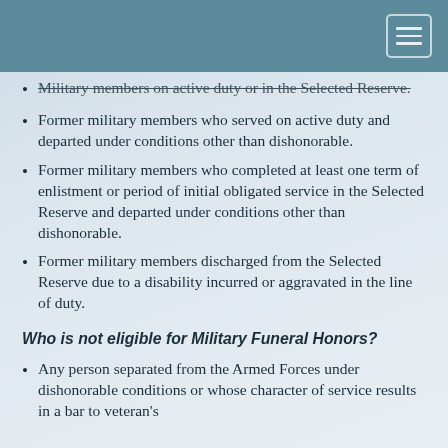Military members on active duty or in the Selected Reserve.
Former military members who served on active duty and departed under conditions other than dishonorable.
Former military members who completed at least one term of enlistment or period of initial obligated service in the Selected Reserve and departed under conditions other than dishonorable.
Former military members discharged from the Selected Reserve due to a disability incurred or aggravated in the line of duty.
Who is not eligible for Military Funeral Honors?
Any person separated from the Armed Forces under dishonorable conditions or whose character of service results in a bar to veteran's